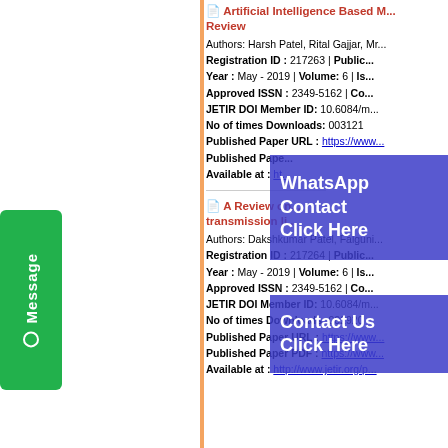Artificial Intelligence Based M... Review
Authors: Harsh Patel, Rital Gajjar, Mr...
Registration ID : 217263 | Public...
Year : May - 2019 | Volume: 6 | Is...
Approved ISSN : 2349-5162 | Co...
JETIR DOI Member ID: 10.6084/m...
No of times Downloads: 003121
Published Paper URL : https://www...
Published Pape...
Available at : ht...
A Review on... transmission li...
Authors: Dakshkumar Patel, Falguni...
Registration ID : 217264 | Public...
Year : May - 2019 | Volume: 6 | Is...
Approved ISSN : 2349-5162 | Co...
JETIR DOI Member ID: 10.6084/m...
No of times Downloads: 002920
Published Paper URL : https://www...
Published Paper PDF : https://www...
Available at : http://www.jetir.org/p...